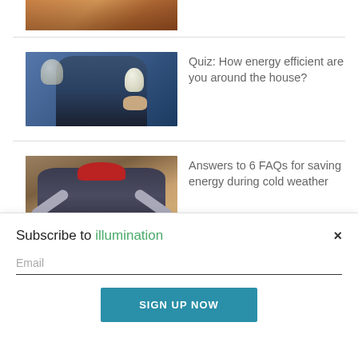[Figure (photo): Cropped photo at top, partially visible, showing warm brown tones (person near refrigerator)]
[Figure (photo): Person in denim jacket holding a light bulb in each hand]
Quiz: How energy efficient are you around the house?
[Figure (photo): Worker in plaid shirt and red hard hat in attic insulation, arms outstretched]
Answers to 6 FAQs for saving energy during cold weather
Subscribe to illumination
Email
SIGN UP NOW